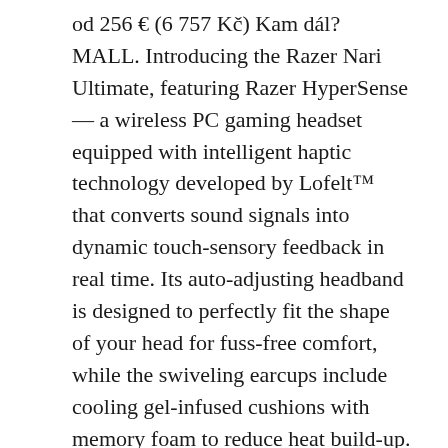od 256 € (6 757 Kč) Kam dál? MALL. Introducing the Razer Nari Ultimate, featuring Razer HyperSense — a wireless PC gaming headset equipped with intelligent haptic technology developed by Lofelt™ that converts sound signals into dynamic touch-sensory feedback in real time. Its auto-adjusting headband is designed to perfectly fit the shape of your head for fuss-free comfort, while the swiveling earcups include cooling gel-infused cushions with memory foam to reduce heat build-up. THX Spatial Audio Cooling Gel-Infused Cushions Lag-Free Wireless Performance. Wired compatibility via 3.5mm cable with PC, PS4, Nintendo Switch, and mobile devices, Razer Hypersense Haptic Feedback for Unparalleled Immersion, Ultimate Personalization & Gaming Immersion with Razer Chroma: Includes 16.8 million color combinations. Haptics in gamepads today provide simple feedback and rumbling during key in-game events. Razer Nari